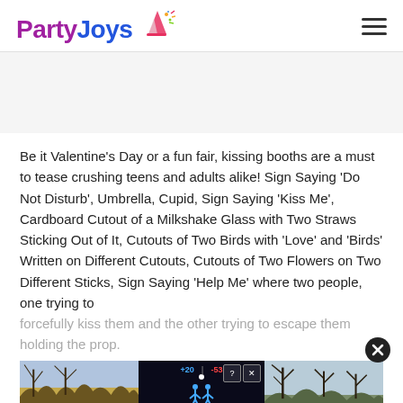[Figure (logo): PartyJoys logo with colorful text and party hat icon, plus hamburger menu icon on the right]
Be it Valentine’s Day or a fun fair, kissing booths are a must to tease crushing teens and adults alike! Sign Saying ‘Do Not Disturb’, Umbrella, Cupid, Sign Saying ‘Kiss Me’, Cardboard Cutout of a Milkshake Glass with Two Straws Sticking Out of It, Cutouts of Two Birds with ‘Love’ and ‘Birds’ Written on Different Cutouts, Cutouts of Two Flowers on Two Different Sticks, Sign Saying ‘Help Me’ where two people, one trying to forcefully kiss them and the other trying to escape them holding the prop.
[Figure (screenshot): Advertisement banner showing outdoor winter scene with Hold and Move game/app ad]